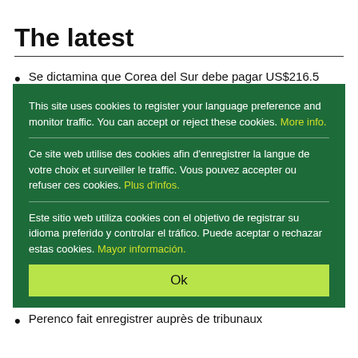The latest
Se dictamina que Corea del Sur debe pagar US$216.5 millones a Lone Star en un juicio entre inversores y Estado
You can accept or reject these cookies. [overlay content]
This site uses cookies to register your language preference and monitor traffic. You can accept or reject these cookies. More info.

Ce site web utilise des cookies afin d'enregistrer la langue de votre choix et surveiller le traffic. Vous pouvez accepter ou refuser ces cookies. Plus d'infos.

Este sitio web utiliza cookies con el objetivo de registrar su idioma preferido y controlar el tráfico. Puede aceptar o rechazar estas cookies. Mayor información.
Italia condena a pagar una compensación millonaria a una compañía petrolera
Ecologistas en Acción | 29-Aug-2022
Perenco fait enregistrer auprès de tribunaux